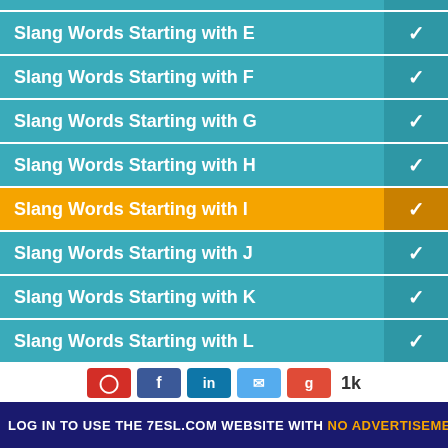Slang Words Starting with E
Slang Words Starting with F
Slang Words Starting with G
Slang Words Starting with H
Slang Words Starting with I
Slang Words Starting with J
Slang Words Starting with K
Slang Words Starting with L
Slang Words Starting with M
Slang Words Starting with N
LOG IN TO USE THE 7ESL.COM WEBSITE WITH NO ADVERTISEMENTS